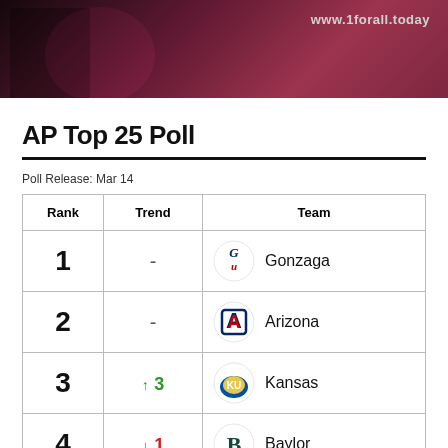[Figure (photo): Advertisement banner with a musician playing guitar, dark reddish background, text 'www.1forall.today']
AP Top 25 Poll
Poll Release: Mar 14
| Rank | Trend | Team |
| --- | --- | --- |
| 1 | - | Gonzaga |
| 2 | - | Arizona |
| 3 | ↑ 3 | Kansas |
| 4 | ↓ 1 | Baylor |